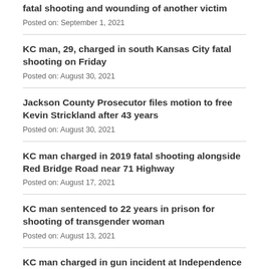fatal shooting and wounding of another victim
Posted on: September 1, 2021
KC man, 29, charged in south Kansas City fatal shooting on Friday
Posted on: August 30, 2021
Jackson County Prosecutor files motion to free Kevin Strickland after 43 years
Posted on: August 30, 2021
KC man charged in 2019 fatal shooting alongside Red Bridge Road near 71 Highway
Posted on: August 17, 2021
KC man sentenced to 22 years in prison for shooting of transgender woman
Posted on: August 13, 2021
KC man charged in gun incident at Independence Center, August 7, 2021